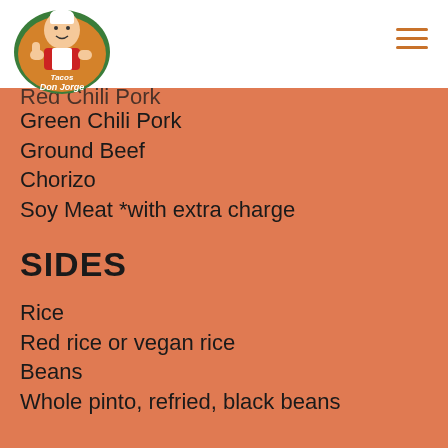[Figure (logo): Tacos Don Jorge logo: cartoon chef giving thumbs up inside a circular emblem with text 'Tacos Don Jorge']
Red Chili Pork (partially visible, cropped at top)
Green Chili Pork
Ground Beef
Chorizo
Soy Meat *with extra charge
SIDES
Rice
Red rice or vegan rice
Beans
Whole pinto, refried, black beans